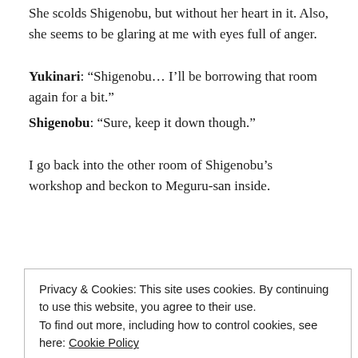She scolds Shigenobu, but without her heart in it. Also, she seems to be glaring at me with eyes full of anger.
Yukinari: “Shigenobu… I’ll be borrowing that room again for a bit.”
Shigenobu: “Sure, keep it down though.”
I go back into the other room of Shigenobu’s workshop and beckon to Meguru-san inside.
Privacy & Cookies: This site uses cookies. By continuing to use this website, you agree to their use.
To find out more, including how to control cookies, see here: Cookie Policy
Close and accept
Meguru: “Today, I was looking for you, Yukinari-kun, but I